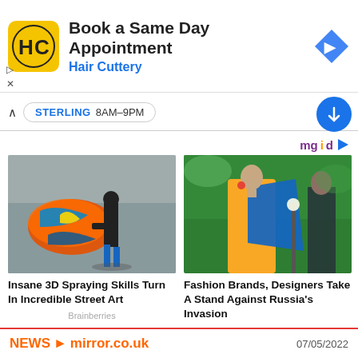[Figure (advertisement): Hair Cuttery ad banner: yellow logo with HC letters, text 'Book a Same Day Appointment' and 'Hair Cuttery', blue diamond navigation icon on right, play and close controls on left]
STERLING 8AM–9PM
mgid
[Figure (photo): Person in black spraying colorful 3D animal street art on a wall]
Insane 3D Spraying Skills Turn In Incredible Street Art
Brainberries
[Figure (photo): Woman in yellow dress with blue cape at a fashion event]
Fashion Brands, Designers Take A Stand Against Russia's Invasion
Herbeauty
NEWS > mirror.co.uk  07/05/2022